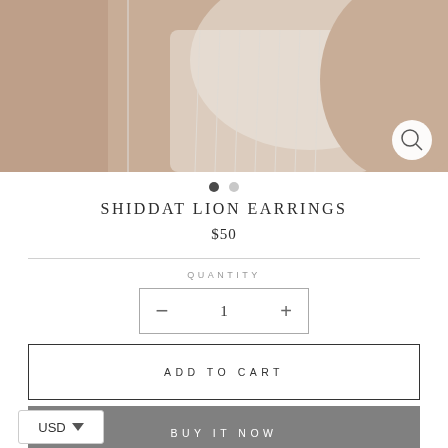[Figure (photo): Close-up photo of a person wearing a white ribbed top, torso and collarbone visible, warm skin tone, product detail shot for jewelry e-commerce]
SHIDDAT LION EARRINGS
$50
QUANTITY
1
ADD TO CART
BUY IT NOW
USD
Handmade silver and diamond blah blah with a dear far to d...